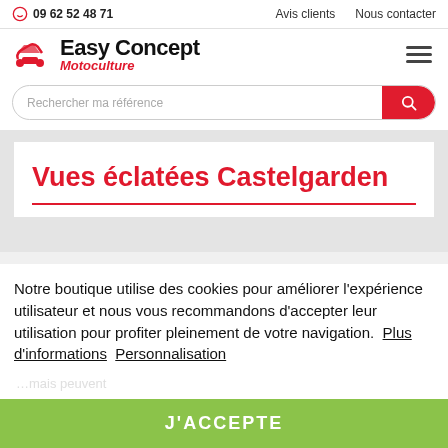09 62 52 48 71   Avis clients   Nous contacter
[Figure (logo): Easy Concept Motoculture logo with scooter icon]
Rechercher ma référence
Vues éclatées Castelgarden
Notre boutique utilise des cookies pour améliorer l'expérience utilisateur et nous vous recommandons d'accepter leur utilisation pour profiter pleinement de votre navigation.  Plus d'informations  Personnalisation
J'ACCEPTE